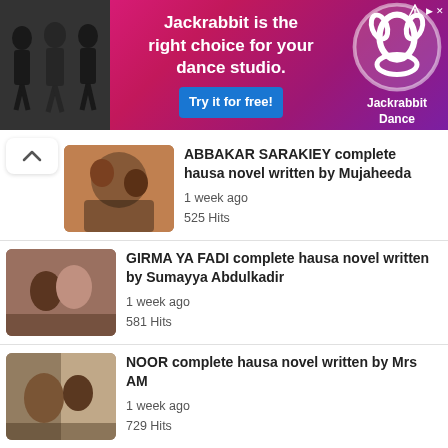[Figure (infographic): Jackrabbit Dance advertisement banner with pink/purple gradient background, dancers photo on left, text 'Jackrabbit is the right choice for your dance studio.', blue 'Try it for free!' button, and Jackrabbit Dance logo on right]
ABBAKAR SARAKIEY complete hausa novel written by Mujaheeda
1 week ago
525 Hits
GIRMA YA FADI complete hausa novel written by Sumayya Abdulkadir
1 week ago
581 Hits
NOOR complete hausa novel written by Mrs AM
1 week ago
729 Hits
NAWA BANGAREN complete hausa novel written by Queen Nasmerh
1 week ago
525 Hits
TWIST OF FATE complete hausa novel written by